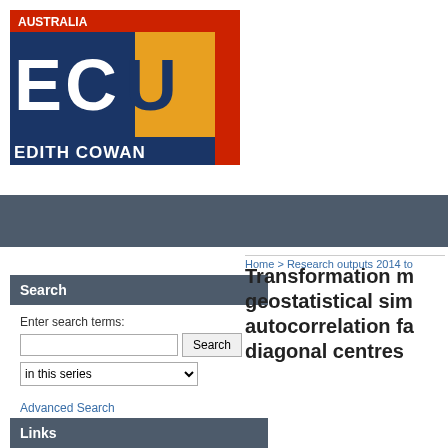[Figure (logo): Edith Cowan University logo — ECU letters in blue and gold on dark blue background with red 'AUSTRALIA' text and 'UNIVERSITY' rotated on red sidebar, 'EDITH COWAN' text below]
Home > Research outputs 2014 to
Search
Enter search terms:
in this series
Advanced Search
Help Using Search
Notify me via email or RSS
Links
Transformation m geostatistical sim autocorrelation fa diagonal centres